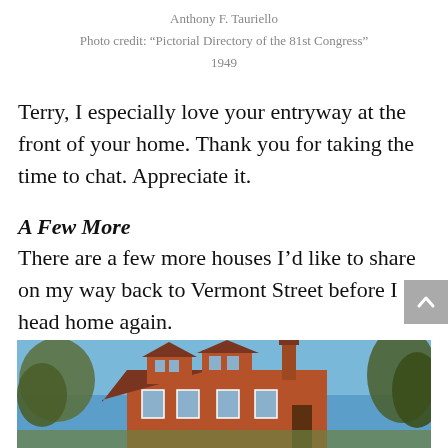Anthony F. Tauriello
Photo credit: “Pictorial Directory of the 81st Congress”
1949
Terry, I especially love your entryway at the front of your home. Thank you for taking the time to chat. Appreciate it.
A Few More
There are a few more houses I’d like to share on my way back to Vermont Street before I head home again.
[Figure (photo): Exterior photo of a brick house with dormers and a chimney against a blue sky with trees]